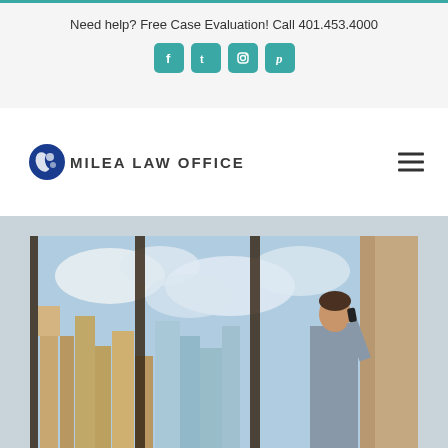Need help? Free Case Evaluation! Call 401.453.4000
[Figure (infographic): Social media icons: Facebook, Twitter, Instagram, Pinterest — teal rounded squares]
[Figure (logo): Milea Law Office logo with circular blue globe icon and text MILEA LAW OFFICE]
[Figure (photo): Man in suit talking on phone by floor-to-ceiling windows with city skyline view]